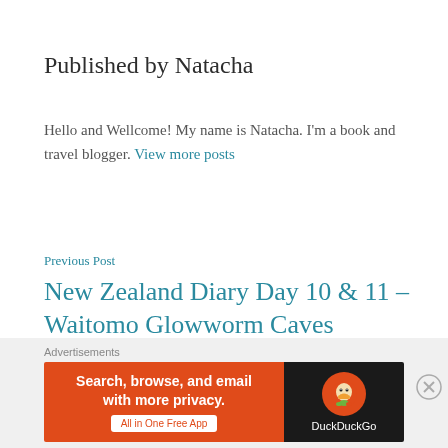Published by Natacha
Hello and Wellcome! My name is Natacha. I'm a book and travel blogger. View more posts
Previous Post
New Zealand Diary Day 10 & 11 – Waitomo Glowworm Caves
Advertisements
[Figure (other): DuckDuckGo advertisement banner: orange left panel with text 'Search, browse, and email with more privacy. All in One Free App' and dark right panel with DuckDuckGo logo and text 'DuckDuckGo']